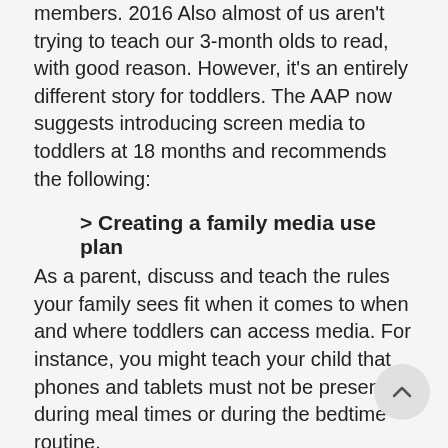members. 2016 Also almost of us aren't trying to teach our 3-month olds to read, with good reason. However, it's an entirely different story for toddlers. The AAP now suggests introducing screen media to toddlers at 18 months and recommends the following:
> Creating a family media use plan
As a parent, discuss and teach the rules your family sees fit when it comes to when and where toddlers can access media. For instance, you might teach your child that phones and tablets must not be present during meal times or during the bedtime routine.
> Choosing high-quality apps
There are many apps available in the Apps St but how do you know which ones to choose? apps from a company you trust, look for apps that